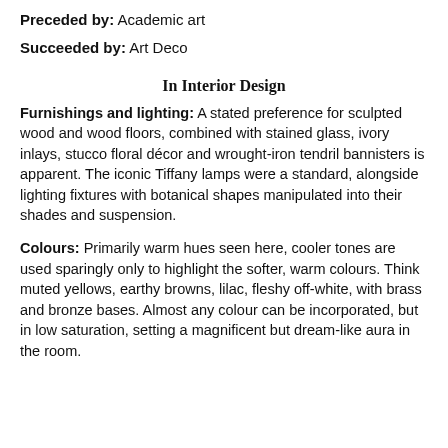Preceded by: Academic art
Succeeded by: Art Deco
In Interior Design
Furnishings and lighting: A stated preference for sculpted wood and wood floors, combined with stained glass, ivory inlays, stucco floral décor and wrought-iron tendril bannisters is apparent. The iconic Tiffany lamps were a standard, alongside lighting fixtures with botanical shapes manipulated into their shades and suspension.
Colours: Primarily warm hues seen here, cooler tones are used sparingly only to highlight the softer, warm colours. Think muted yellows, earthy browns, lilac, fleshy off-white, with brass and bronze bases. Almost any colour can be incorporated, but in low saturation, setting a magnificent but dream-like aura in the room.